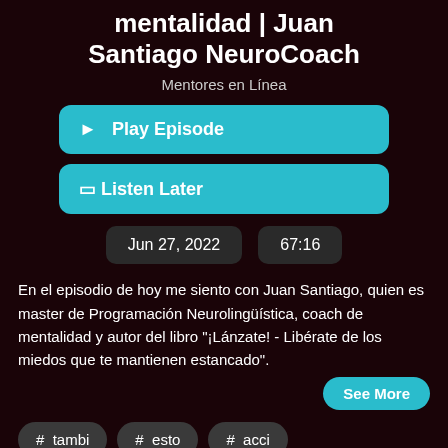mentalidad | Juan Santiago NeuroCoach
Mentores en Línea
Play Episode
Listen Later
Jun 27, 2022
67:16
En el episodio de hoy me siento con Juan Santiago, quien es master de Programación Neurolingüística, coach de mentalidad y autor del libro "¡Lánzate! - Libérate de los miedos que te mantienen estancado".
See More
# tambi
# esto
# acci
# mentalidad
# nonse